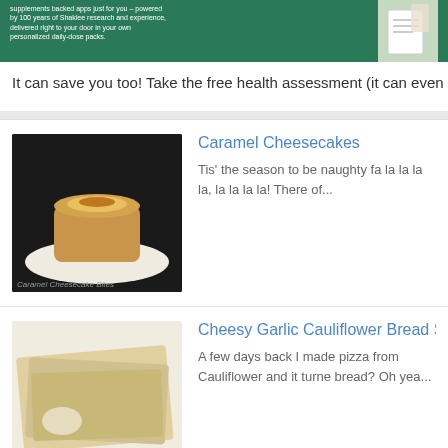[Figure (photo): Green banner advertisement with white text and hand holding card on the right]
It can save you too! Take the free health assessment (it can even hook u
[Figure (photo): Caramel cheesecake bites on a plate with dark background]
Caramel Cheesecakes
Tis' the season to be naughty fa la la la la, la la la la! There of...
[Figure (photo): Cheesy garlic cauliflower bread sticks on a plate]
Cheesy Garlic Cauliflower Bread Sticks
A few days back I made pizza from Cauliflower and it turne bread? Oh yea...